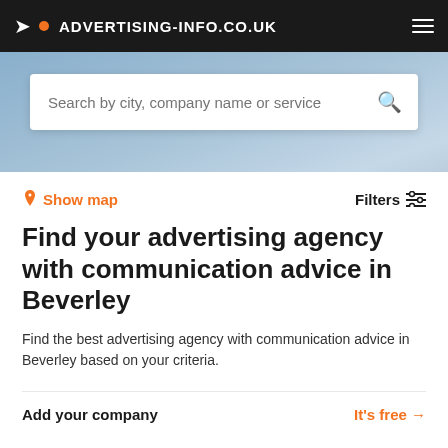ADVERTISING-INFO.CO.UK
Search by city, company name or service
Show map
Filters
Find your advertising agency with communication advice in Beverley
Find the best advertising agency with communication advice in Beverley based on your criteria.
Add your company
It's free →